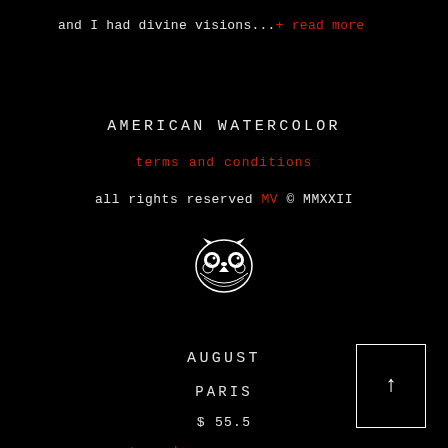and I had divine visions...+ read more
AMERICAN WATERCOLOR
terms and conditions
all rights reserved MV © MMXXII
[Figure (illustration): White owl face logo/icon on black background]
AUGUST
PARIS
$ 55.5
+ read more